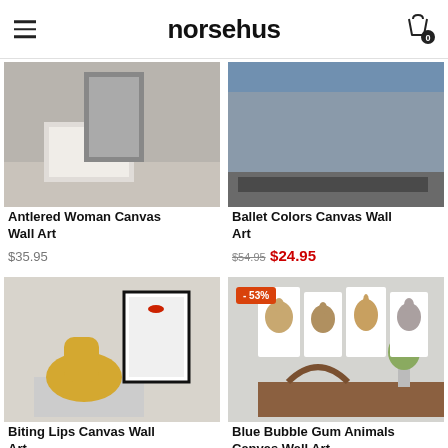norsehus
[Figure (photo): Antlered Woman Canvas Wall Art product image - room interior with canvas]
Antlered Woman Canvas Wall Art
$35.95
[Figure (photo): Ballet Colors Canvas Wall Art product image - room interior with canvas]
Ballet Colors Canvas Wall Art
$54.95 $24.95
[Figure (photo): Biting Lips Canvas Wall Art product image - room with yellow chair and framed print]
Biting Lips Canvas Wall Art
[Figure (photo): Blue Bubble Gum Animals Canvas Wall Art product image - four animal prints on wall above dining table, -53% badge]
Blue Bubble Gum Animals Canvas Wall Art